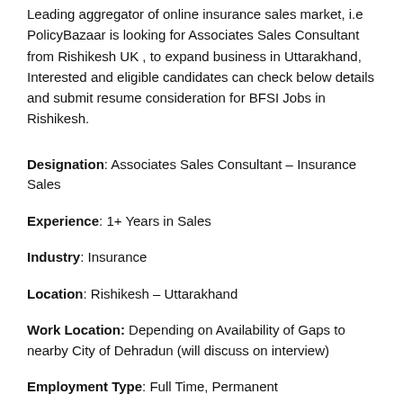Leading aggregator of online insurance sales market, i.e PolicyBazaar is looking for Associates Sales Consultant from Rishikesh UK , to expand business in Uttarakhand, Interested and eligible candidates can check below details and submit resume consideration for BFSI Jobs in Rishikesh.
Designation: Associates Sales Consultant – Insurance Sales
Experience: 1+ Years in Sales
Industry: Insurance
Location: Rishikesh – Uttarakhand
Work Location: Depending on Availability of Gaps to nearby City of Dehradun (will discuss on interview)
Employment Type: Full Time, Permanent
Qualification: Any Graduates